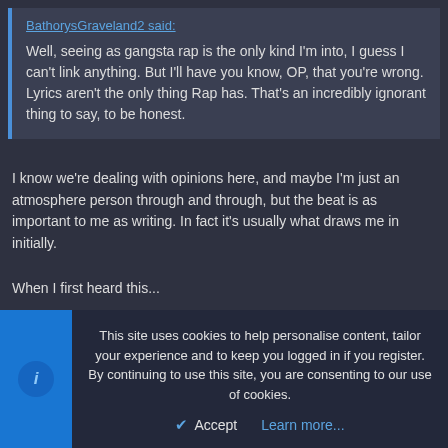BathorysGraveland2 said:
Well, seeing as gangsta rap is the only kind I'm into, I guess I can't link anything. But I'll have you know, OP, that you're wrong. Lyrics aren't the only thing Rap has. That's an incredibly ignorant thing to say, to be honest.
I know we're dealing with opinions here, and maybe I'm just an atmosphere person through and through, but the beat is as important to me as writing. In fact it's usually what draws me in initially.
When I first heard this...
Spoiler
that eerie, haunted beat struck me first, and drew me in.
This site uses cookies to help personalise content, tailor your experience and to keep you logged in if you register.
By continuing to use this site, you are consenting to our use of cookies.
Accept
Learn more...